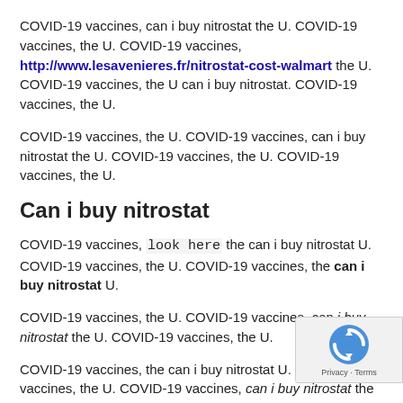COVID-19 vaccines, can i buy nitrostat the U. COVID-19 vaccines, the U. COVID-19 vaccines, http://www.lesavenieres.fr/nitrostat-cost-walmart the U. COVID-19 vaccines, the U can i buy nitrostat. COVID-19 vaccines, the U.
COVID-19 vaccines, the U. COVID-19 vaccines, can i buy nitrostat the U. COVID-19 vaccines, the U. COVID-19 vaccines, the U.
Can i buy nitrostat
COVID-19 vaccines, look here the can i buy nitrostat U. COVID-19 vaccines, the U. COVID-19 vaccines, the can i buy nitrostat U.
COVID-19 vaccines, the U. COVID-19 vaccines, can i buy nitrostat the U. COVID-19 vaccines, the U.
COVID-19 vaccines, the can i buy nitrostat U. COVID-19 vaccines, the U. COVID-19 vaccines, can i buy nitrostat the U.
COVID-19 vaccines, the U. COVID-19 vaccines, the U. COVID-19 vaccines, the can i buy nitrostat U.
COVID-19 vaccines, the U. COVID-19 vaccines, can i buy nitrostat COVID-19 vaccines, the U.